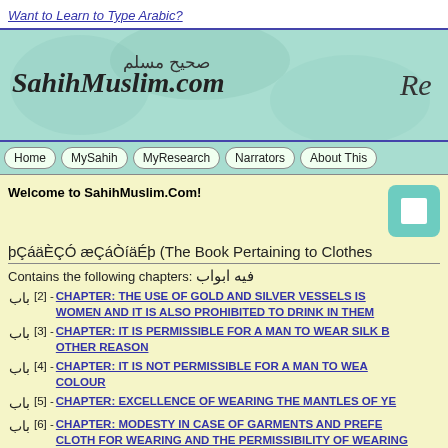Want to Learn to Type Arabic?
[Figure (screenshot): SahihMuslim.com website header banner with logo and Arabic text صحيح مسلم on teal/mint decorative background]
Home | MySahih | MyResearch | Narrators | About This
Welcome to SahihMuslim.Com!
þÇáäÈÇÓ æÇáÒíäÉþ (The Book Pertaining to Clothes
Contains the following chapters: فيه ابواب
باب [2] - CHAPTER: THE USE OF GOLD AND SILVER VESSELS IS WOMEN AND IT IS ALSO PROHIBITED TO DRINK IN THEM
باب [3] - CHAPTER: IT IS PERMISSIBLE FOR A MAN TO WEAR SILK B OTHER REASON
باب [4] - CHAPTER: IT IS NOT PERMISSIBLE FOR A MAN TO WEA COLOUR
باب [5] - CHAPTER: EXCELLENCE OF WEARING THE MANTLES OF YE
باب [6] - CHAPTER: MODESTY IN CASE OF GARMENTS AND PREFE CLOTH FOR WEARING AND THE PERMISSIBILITY OF WEARING